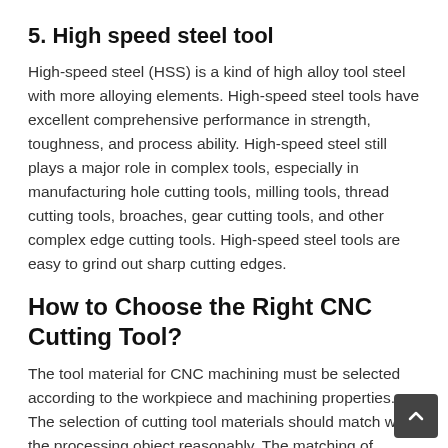5. High speed steel tool
High-speed steel (HSS) is a kind of high alloy tool steel with more alloying elements. High-speed steel tools have excellent comprehensive performance in strength, toughness, and process ability. High-speed steel still plays a major role in complex tools, especially in manufacturing hole cutting tools, milling tools, thread cutting tools, broaches, gear cutting tools, and other complex edge cutting tools. High-speed steel tools are easy to grind out sharp cutting edges.
How to Choose the Right CNC Cutting Tool?
The tool material for CNC machining must be selected according to the workpiece and machining properties. The selection of cutting tool materials should match with the processing object reasonably. The matching of cutting tool materials with the processing object mainly refers to th